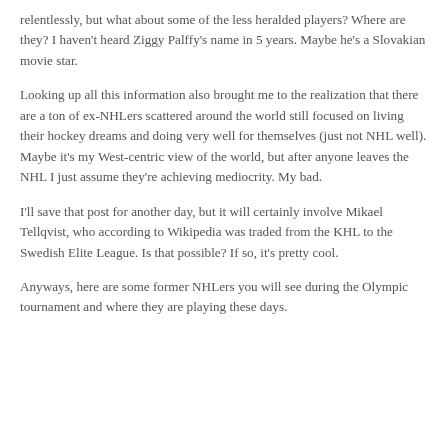relentlessly, but what about some of the less heralded players? Where are they? I haven't heard Ziggy Palffy's name in 5 years. Maybe he's a Slovakian movie star.
Looking up all this information also brought me to the realization that there are a ton of ex-NHLers scattered around the world still focused on living their hockey dreams and doing very well for themselves (just not NHL well). Maybe it's my West-centric view of the world, but after anyone leaves the NHL I just assume they're achieving mediocrity. My bad.
I'll save that post for another day, but it will certainly involve Mikael Tellqvist, who according to Wikipedia was traded from the KHL to the Swedish Elite League. Is that possible? If so, it's pretty cool.
Anyways, here are some former NHLers you will see during the Olympic tournament and where they are playing these days.